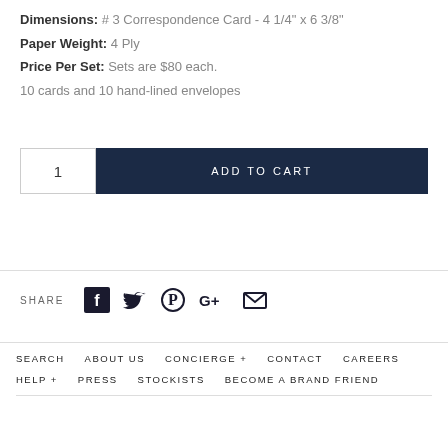Dimensions: # 3 Correspondence Card - 4 1/4" x 6 3/8"
Paper Weight: 4 Ply
Price Per Set: Sets are $80 each.
10 cards and 10 hand-lined envelopes
1  ADD TO CART
SHARE
SEARCH   ABOUT US   CONCIERGE +   CONTACT   CAREERS
HELP +   PRESS   STOCKISTS   BECOME A BRAND FRIEND